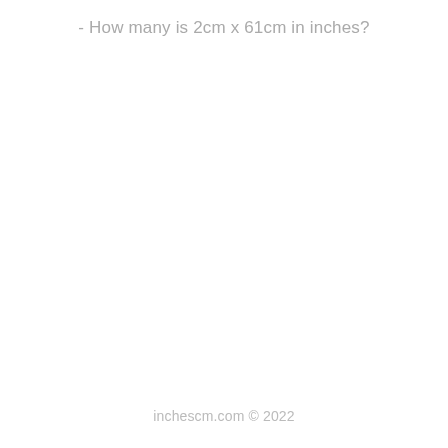- How many is 2cm x 61cm in inches?
inchescm.com © 2022